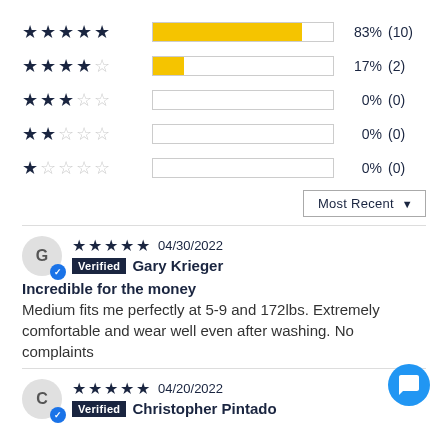[Figure (bar-chart): Star Rating Distribution]
Most Recent ▼
G  ★★★★★ 04/30/2022  Verified Gary Krieger
Incredible for the money
Medium fits me perfectly at 5-9 and 172lbs. Extremely comfortable and wear well even after washing. No complaints
C  ★★★★★ 04/20/2022  Verified Christopher Pintado